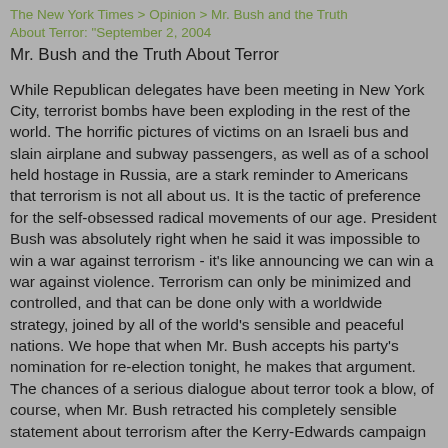The New York Times > Opinion > Mr. Bush and the Truth About Terror: "September 2, 2004
Mr. Bush and the Truth About Terror
While Republican delegates have been meeting in New York City, terrorist bombs have been exploding in the rest of the world. The horrific pictures of victims on an Israeli bus and slain airplane and subway passengers, as well as of a school held hostage in Russia, are a stark reminder to Americans that terrorism is not all about us. It is the tactic of preference for the self-obsessed radical movements of our age. President Bush was absolutely right when he said it was impossible to win a war against terrorism - it's like announcing we can win a war against violence. Terrorism can only be minimized and controlled, and that can be done only with a worldwide strategy, joined by all of the world's sensible and peaceful nations. We hope that when Mr. Bush accepts his party's nomination for re-election tonight, he makes that argument.
The chances of a serious dialogue about terror took a blow, of course, when Mr. Bush retracted his completely sensible statement about terrorism after the Kerry-Edwards campaign